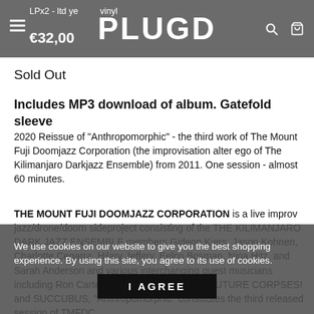LPx2 - ltd year vinyl | PLUGD | €32,00
Sold Out
Includes MP3 download of album. Gatefold sleeve
2020 Reissue of "Anthropomorphic" - the third work of The Mount Fuji Doomjazz Corporation (the improvisation alter ego of The Kilimanjaro Darkjazz Ensemble) from 2011. One session - almost 60 minutes.
THE MOUNT FUJI DOOMJAZZ CORPORATION is a live improv jazz/drone/doom sideproject consisting of the THE KILIMANJARO DARK JAZZ ENSEMBLE members Gideon Kiers, Jason Kohnen, Charlotte Cegarra, Hilary Jeffery, Eelco Bosman, Nina Hitz, and Sarah Anderson and various interchanging guest musicians including Ron Carter. Following DOOMJAZZ FUTURE CORPSES! and SUCCUBUS, "Anthropomorphic" constitutes the third released session of TMFDC.
We use cookies on our website to give you the best shopping experience. By using this site, you agree to its use of cookies.
I AGREE